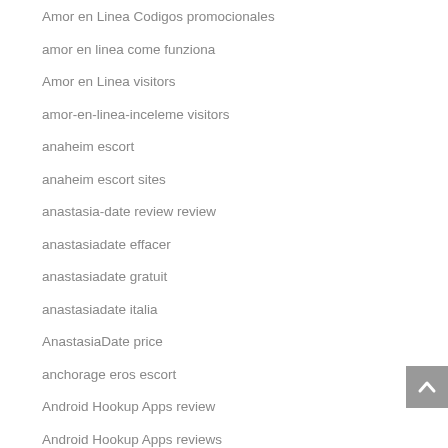Amor en Linea Codigos promocionales
amor en linea come funziona
Amor en Linea visitors
amor-en-linea-inceleme visitors
anaheim escort
anaheim escort sites
anastasia-date review review
anastasiadate effacer
anastasiadate gratuit
anastasiadate italia
AnastasiaDate price
anchorage eros escort
Android Hookup Apps review
Android Hookup Apps reviews
android hookup apps safety